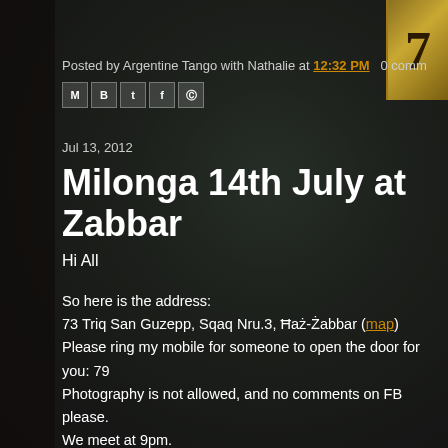[Figure (photo): Dark atmospheric background photo of a rustic interior with stone/plaster walls, vintage telephone, framed pictures on left wall, and a golden decorative element (number 7) in the top right corner.]
Posted by Argentine Tango with Nathalie at 12:32 PM   0 comm
[Figure (infographic): Row of social share icons: Gmail (M), Blogger (B), Twitter (t), Facebook (f), Pinterest (P)]
Jul 13, 2012
Milonga 14th July at Zabbar
Hi All
So here is the address:
73 Triq San Guzepp, Sqaq Nru.3, Ħaż-Żabbar (map)
Please ring my mobile for someone to open the door for you: 79
Photography is not allowed, and no comments on FB please.
We meet at 9pm.
Fee is 3 euros in the tea pot as usual please.
Bring your own drink, I will provide cups.